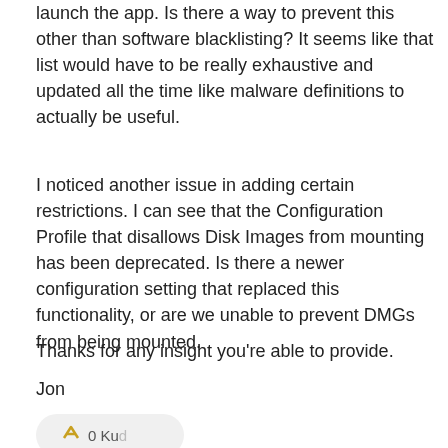launch the app. Is there a way to prevent this other than software blacklisting? It seems like that list would have to be really exhaustive and updated all the time like malware definitions to actually be useful.
I noticed another issue in adding certain restrictions. I can see that the Configuration Profile that disallows Disk Images from mounting has been deprecated. Is there a newer configuration setting that replaced this functionality, or are we unable to prevent DMGs from being mounted.
Thanks for any insight you're able to provide.
Jon
[Figure (other): A button/badge element with an arrow icon and partially visible text (0 Kudos or similar)]